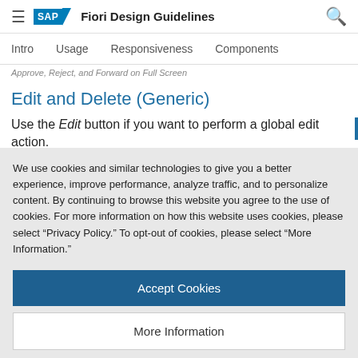SAP Fiori Design Guidelines
Intro | Usage | Responsiveness | Components
Approve, Reject, and Forward on Full Screen
Edit and Delete (Generic)
Use the Edit button if you want to perform a global edit action.
We use cookies and similar technologies to give you a better experience, improve performance, analyze traffic, and to personalize content. By continuing to browse this website you agree to the use of cookies. For more information on how this website uses cookies, please select “Privacy Policy.” To opt-out of cookies, please select “More Information.”
Accept Cookies
More Information
Privacy Policy | Powered by: TrustArc
app. App teams can choose whether they use the Share